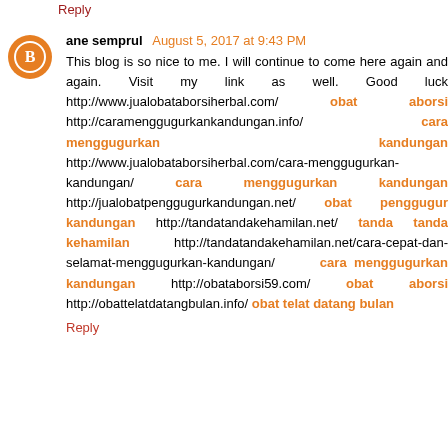Reply
ane semprul August 5, 2017 at 9:43 PM
This blog is so nice to me. I will continue to come here again and again. Visit my link as well. Good luck http://www.jualobataborsiherbal.com/ obat aborsi http://caramenggugurkan kandungan.info/ cara menggugurkan kandungan http://www.jualobataborsiherbal.com/cara-menggugurkan-kandungan/ cara menggugurkan kandungan http://jualobatpenggugurkandungan.net/ obat penggugur kandungan http://tandatandakehamilan.net/ tanda tanda kehamilan http://tandatandakehamilan.net/cara-cepat-dan-selamat-menggugurkan-kandungan/ cara menggugurkan kandungan http://obataborsi59.com/ obat aborsi http://obattelatdatangbulan.info/ obat telat datang bulan
Reply